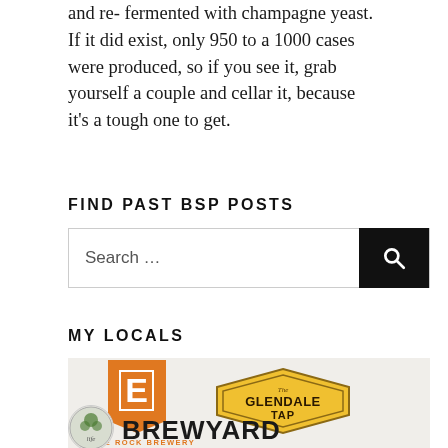and re- fermented with champagne yeast. If it did exist, only 950 to a 1000 cases were produced, so if you see it, grab yourself a couple and cellar it, because it's a tough one to get.
FIND PAST BSP POSTS
[Figure (screenshot): Search bar with text 'Search ...' and a black search button with magnifying glass icon]
MY LOCALS
[Figure (logo): Eagle Rock Brewery logo with orange square E icon and Glendale Tap logo in yellow diamond shape]
[Figure (logo): Circular brewery logo and BREWYARD text partially visible]